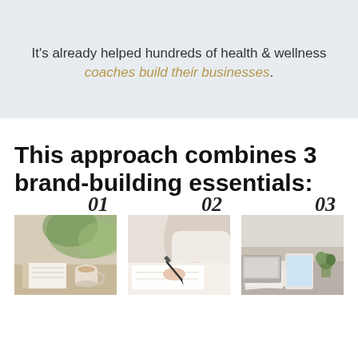It's already helped hundreds of health & wellness coaches build their businesses.
This approach combines 3 brand-building essentials:
[Figure (photo): Photo 01: Notebook and coffee cup on a table with plants in the background]
[Figure (photo): Photo 02: Person writing on paper with a pen]
[Figure (photo): Photo 03: Desk with laptop, tablet, small plant and papers]